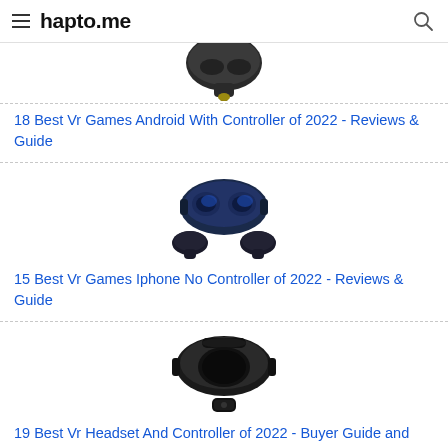hapto.me
[Figure (illustration): VR game controller product image, partially cropped at top]
18 Best Vr Games Android With Controller of 2022 - Reviews & Guide
[Figure (illustration): VR headset with controllers product image]
15 Best Vr Games Iphone No Controller of 2022 - Reviews & Guide
[Figure (illustration): VR headset product image]
19 Best Vr Headset And Controller of 2022 - Buyer Guide and Reviews